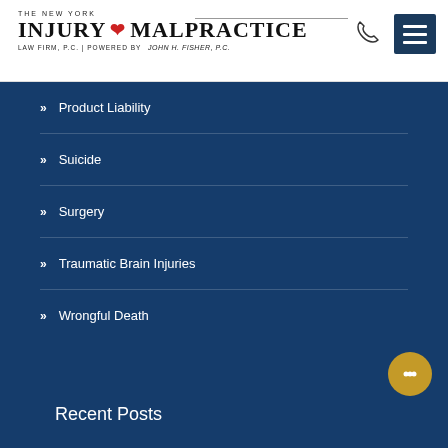THE NEW YORK INJURY & MALPRACTICE LAW FIRM, P.C. | POWERED BY JOHN H. FISHER, P.C.
Product Liability
Suicide
Surgery
Traumatic Brain Injuries
Wrongful Death
Recent Posts